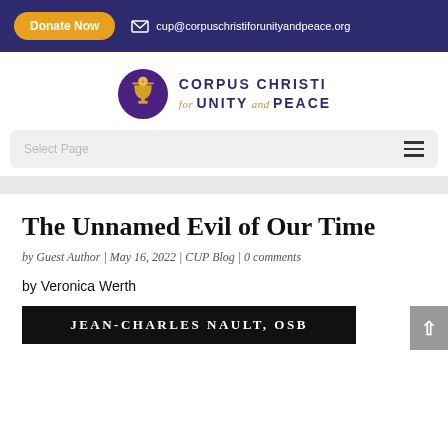Donate Now  cup@corpuschristiforunityandpeace.org
[Figure (logo): Corpus Christi for Unity and Peace logo with chalice icon]
Select Page
The Unnamed Evil of Our Time
by Guest Author | May 16, 2022 | CUP Blog | 0 comments
by Veronica Werth
[Figure (photo): Book cover showing Jean-Charles Nault OSB at bottom of image]